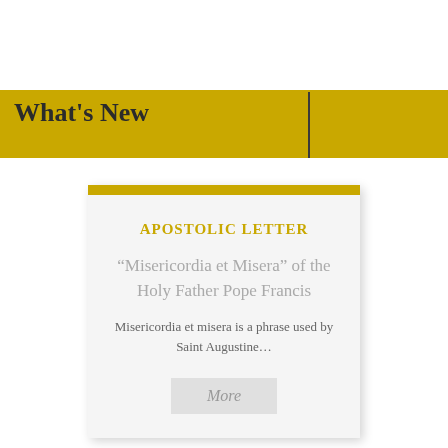What's New
APOSTOLIC LETTER
“Misericordia et Misera” of the Holy Father Pope Francis
Misericordia et misera is a phrase used by Saint Augustine…
More